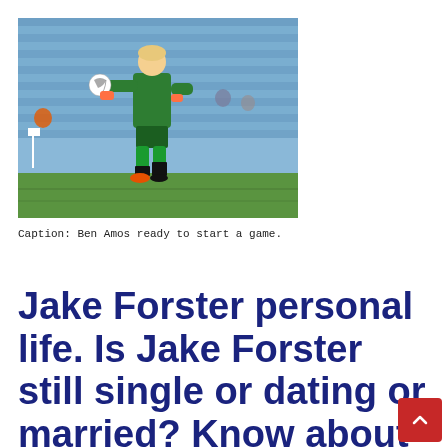[Figure (photo): Goalkeeper Ben Amos in green kit holding a football, running on a pitch with blue stadium seats in the background.]
Caption: Ben Amos ready to start a game.
Jake Forster personal life. Is Jake Forster still single or dating or married? Know about his family life, relationship status and love affairs.